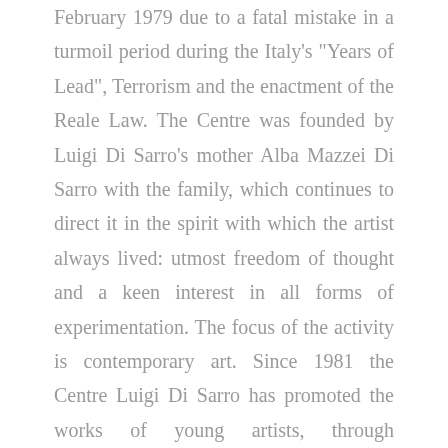February 1979 due to a fatal mistake in a turmoil period during the Italy's "Years of Lead", Terrorism and the enactment of the Reale Law. The Centre was founded by Luigi Di Sarro's mother Alba Mazzei Di Sarro with the family, which continues to direct it in the spirit with which the artist always lived: utmost freedom of thought and a keen interest in all forms of experimentation. The focus of the activity is contemporary art. Since 1981 the Centre Luigi Di Sarro has promoted the works of young artists, through expositions and exchange projects. At the present time, the Centre Luigi Di Sarro works as a centre for art studies with a program of exhibitions and publications that investigate the